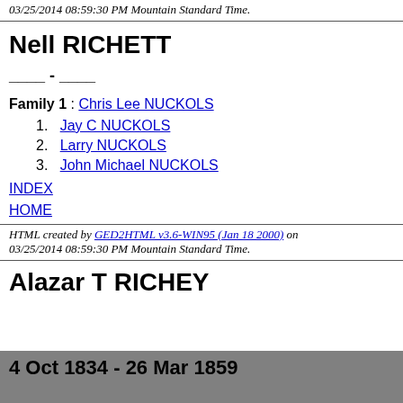HTML created by GED2HTML v3.6-WIN95 (Jan 18 2000) on 03/25/2014 08:59:30 PM Mountain Standard Time.
Nell RICHETT
____ - ____
Family 1 : Chris Lee NUCKOLS
1. Jay C NUCKOLS
2. Larry NUCKOLS
3. John Michael NUCKOLS
INDEX
HOME
HTML created by GED2HTML v3.6-WIN95 (Jan 18 2000) on 03/25/2014 08:59:30 PM Mountain Standard Time.
Alazar T RICHEY
4 Oct 1834 - 26 Mar 1859